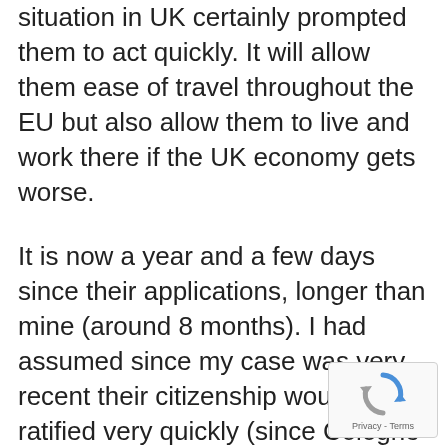situation in UK certainly prompted them to act quickly. It will allow them ease of travel throughout the EU but also allow them to live and work there if the UK economy gets worse.
It is now a year and a few days since their applications, longer than mine (around 8 months). I had assumed since my case was very recent their citizenship would be ratified very quickly (since Cologne don't have to do very much background checking, having done it for me). It makes me wonder how the BVA deal with applications. Are all applications put together and then dealt with on a first come, first served basis? Or is there a US desk, a UK desk, a South East Asia desk etc? I imagine they
[Figure (logo): reCAPTCHA badge with spinning arrows logo and Privacy - Terms text]